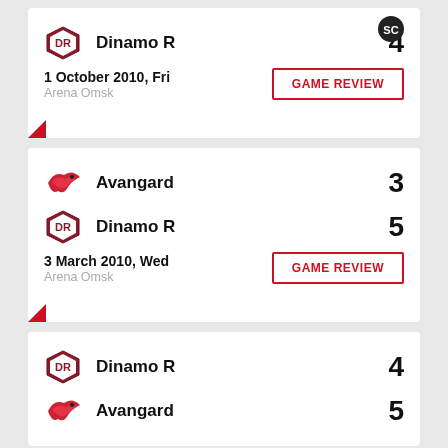[Figure (other): SC sports logo top right of first card]
Dinamo R 4
1 October 2010, Fri
Arena Omsk
GAME REVIEW
Avangard 3
Dinamo R 5
3 March 2010, Wed
Arena Omsk
GAME REVIEW
Dinamo R 4
Avangard 5